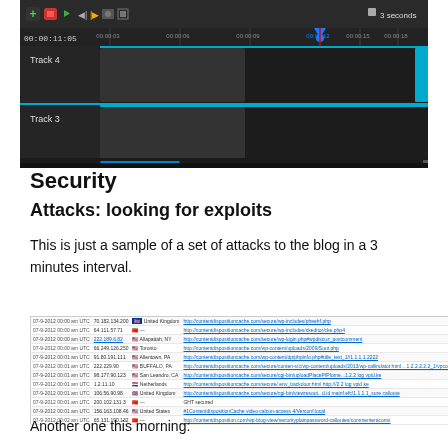[Figure (screenshot): Video timeline editor showing Track 4 and Track 3 with a playhead at 00:00:11:05 and a '3 seconds' marker in the top right. Dark UI with blue/teal highlighted tracks.]
Security
Attacks: looking for exploits
This is just a sample of a set of attacks to the blog in a 3 minutes interval.
[Figure (screenshot): A log table showing rows of attack data with timestamps, IP addresses, country flags, locations, and URLs. Small text, approximately 11 rows visible.]
Another one this morning: